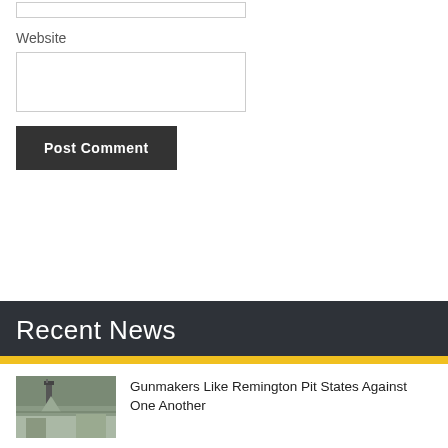Website
Post Comment
Recent News
Gunmakers Like Remington Pit States Against One Another